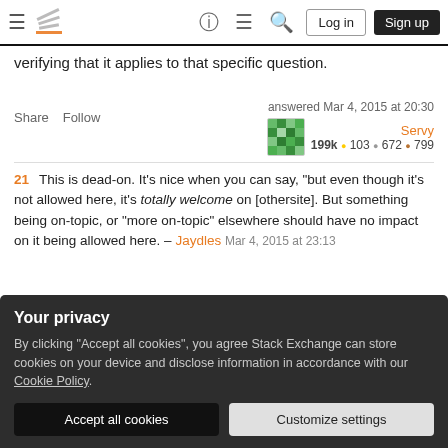Stack Exchange navigation bar with hamburger menu, logo, help, chat, search icons, Log in and Sign up buttons
verifying that it applies to that specific question.
Share  Follow    answered Mar 4, 2015 at 20:30
Servy  199k  103  672  799
21  This is dead-on. It's nice when you can say, "but even though it's not allowed here, it's totally welcome on [othersite]. But something being on-topic, or "more on-topic" elsewhere should have no impact on it being allowed here. – Jaydles  Mar 4, 2015 at 23:13
Add a comment
Your privacy
By clicking "Accept all cookies", you agree Stack Exchange can store cookies on your device and disclose information in accordance with our Cookie Policy.
Accept all cookies   Customize settings